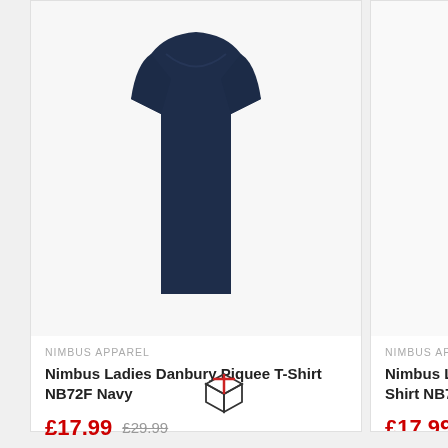[Figure (photo): Navy blue women's Nimbus Danbury Piquee T-Shirt displayed on a mannequin, left product card]
NIMBUS APPAREL
Nimbus Ladies Danbury Piquee T-Shirt NB72F Navy
£17.99  £29.99
[Figure (photo): White women's Nimbus Danbury Piquee T-Shirt displayed on a mannequin, right product card (partially visible)]
NIMBUS APPAREL
Nimbus Ladies Danbury Piquee T-Shirt NB72F White
£17.99  £29.99
[Figure (illustration): Small package/box icon at the bottom center of the page]